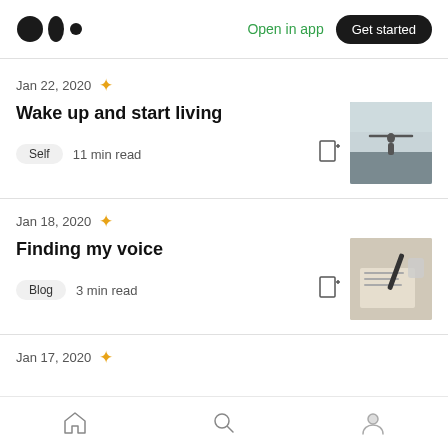Medium logo | Open in app | Get started
Jan 22, 2020 ★
Wake up and start living
Self  11 min read
Jan 18, 2020 ★
Finding my voice
Blog  3 min read
Jan 17, 2020 ★
Home | Search | Profile